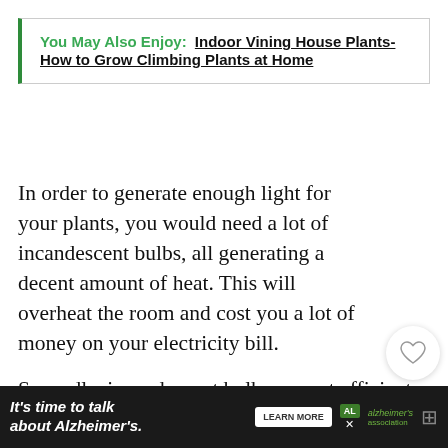You May Also Enjoy: Indoor Vining House Plants- How to Grow Climbing Plants at Home
In order to generate enough light for your plants, you would need a lot of incandescent bulbs, all generating a decent amount of heat. This will overheat the room and cost you a lot of money on your electricity bill.
Secondly, incandescent bulbs are not efficient. To light a square foot of plants, you will need 40 watts. As well as being more power-hungry, incandescent bulbs only last around a year before fi...
It's time to talk about Alzheimer's.